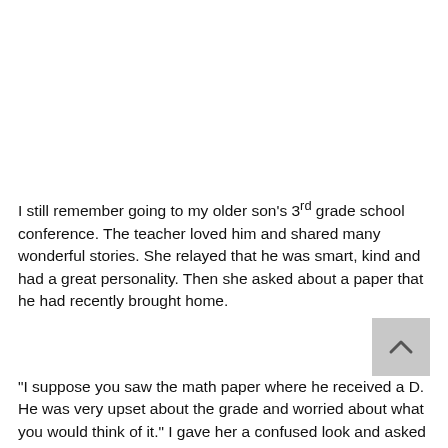I still remember going to my older son's 3rd grade school conference. The teacher loved him and shared many wonderful stories. She relayed that he was smart, kind and had a great personality. Then she asked about a paper that he had recently brought home.
[Figure (other): Scroll-to-top button: grey square with upward-pointing chevron/caret]
"I suppose you saw the math paper where he received a D. He was very upset about the grade and worried about what you would think of it." I gave her a confused look and asked her when